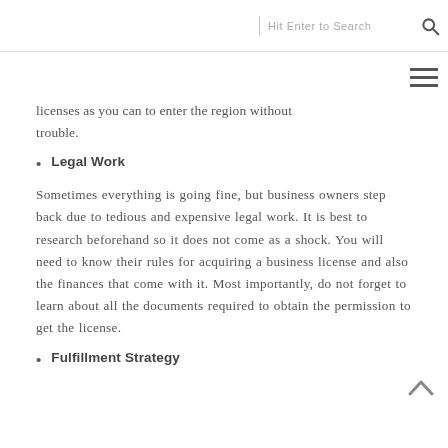Hit Enter to Search
licenses as you can to enter the region without trouble.
Legal Work
Sometimes everything is going fine, but business owners step back due to tedious and expensive legal work. It is best to research beforehand so it does not come as a shock. You will need to know their rules for acquiring a business license and also the finances that come with it. Most importantly, do not forget to learn about all the documents required to obtain the permission to get the license.
Fulfillment Strategy